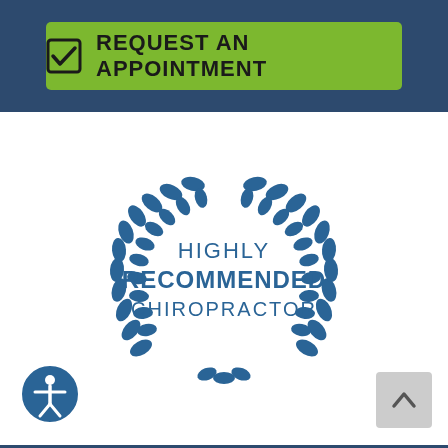[Figure (screenshot): Green button with checkbox icon and bold text 'REQUEST AN APPOINTMENT' on a dark navy blue header bar]
[Figure (logo): Circular laurel wreath badge in teal/dark blue color with text 'HIGHLY RECOMMENDED CHIROPRACTOR' in the center]
[Figure (logo): Accessibility icon - circular button with human figure silhouette in teal]
[Figure (other): Scroll-to-top button - gray square with upward chevron arrow]